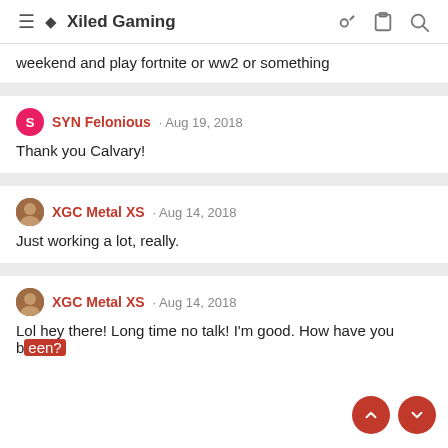Xiled Gaming
weekend and play fortnite or ww2 or something
SYN Felonious · Aug 19, 2018
Thank you Calvary!
XGC Metal XS · Aug 14, 2018
Just working a lot, really.
XGC Metal XS · Aug 14, 2018
Lol hey there! Long time no talk! I'm good. How have you b...?